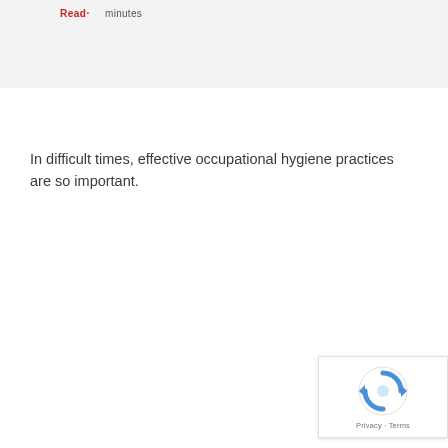Read· minutes
In difficult times, effective occupational hygiene practices are so important.
[Figure (other): reCAPTCHA widget with spinning arrows logo and Privacy - Terms footer text]